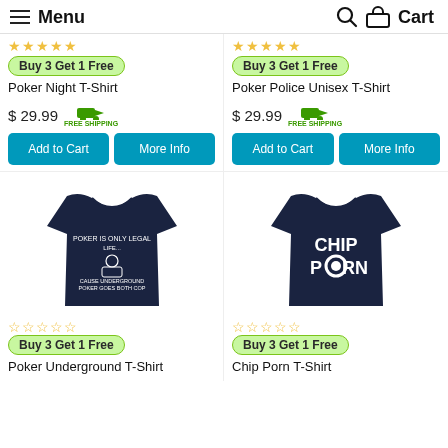Menu | Search | Cart
★★★★★ Buy 3 Get 1 Free
Poker Night T-Shirt
$ 29.99 FREE SHIPPING
Add to Cart | More Info
★★★★★ Buy 3 Get 1 Free
Poker Police Unisex T-Shirt
$ 29.99 FREE SHIPPING
Add to Cart | More Info
[Figure (photo): Navy blue t-shirt with poker underground graphic design]
☆☆☆☆☆ Buy 3 Get 1 Free
Poker Underground T-Shirt
[Figure (photo): Navy blue t-shirt with Chip Porn text graphic]
☆☆☆☆☆ Buy 3 Get 1 Free
Chip Porn T-Shirt